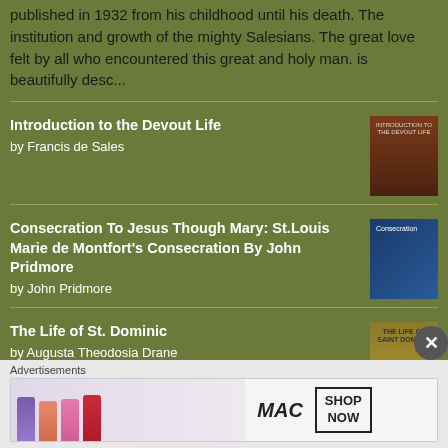published in 1932 from his childhood until his death. The institution and growth of the mighty Salesians. The great love felt by all who encountered this great and holy man. is beautifully desc...
Introduction to the Devout Life by Francis de Sales
Consecration To Jesus Though Mary: St.Louis Marie de Montfort's Consecration By John Pridmore by John Pridmore
The Life of St. Dominic by Augusta Theodosia Drane
Advertisements
[Figure (photo): MAC cosmetics advertisement banner showing lipsticks in purple, peach, pink and red colors with MAC logo and SHOP NOW button]